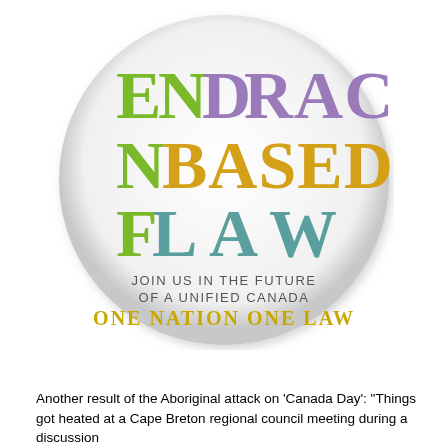[Figure (logo): A circular badge/button with the text 'END RACE BASED LAW' in large colorful letters (green, purple, gold/yellow, teal), with smaller text reading 'JOIN US IN THE FUTURE OF A UNIFIED CANADA' and 'ONE NATION ONE LAW' in gold/yellow-green.]
Another result of the Aboriginal attack on 'Canada Day': "Things got heated at a Cape Breton regional council meeting during a discussion